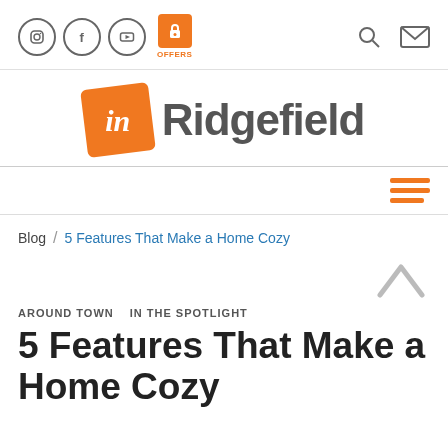Social icons: Instagram, Facebook, YouTube, OFFERS | Search, Mail
[Figure (logo): inRidgefield logo: orange rotated square with 'in' in italic white text, followed by 'Ridgefield' in gray bold sans-serif]
[Figure (infographic): Three horizontal orange lines hamburger menu icon on right side nav bar]
Blog / 5 Features That Make a Home Cozy
[Figure (infographic): Light gray upward-pointing chevron/caret arrow for back-to-top]
AROUND TOWN   IN THE SPOTLIGHT
5 Features That Make a Home Cozy